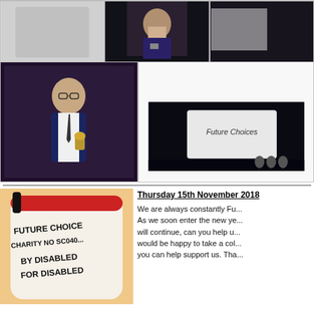[Figure (photo): Top row of event photos - three photos in bordered cells showing award ceremony]
[Figure (photo): Middle left: Young man in waistcoat holding award trophy at event]
[Figure (photo): Middle right: Dark photo showing a 'Future Choices' sign on a table]
[Figure (photo): Bottom left: Close-up photo of a collection can reading FUTURE CHOICES CHARITY NO SC040... BY DISABLED FOR DISABLED]
Thursday 15th November 2018
We are always constantly Fu... As we soon enter the new ye... will continue, can you help u... would be happy to take a co... you can help support us. Tha...